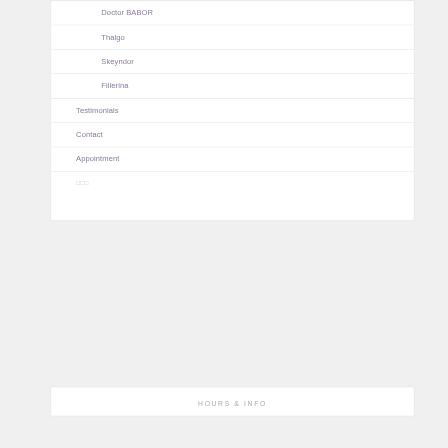Doctor BABOR
Thalgo
Skeyndor
Fillerina
Testimonials
Contact
Appointment
□□□
HOURS & INFO